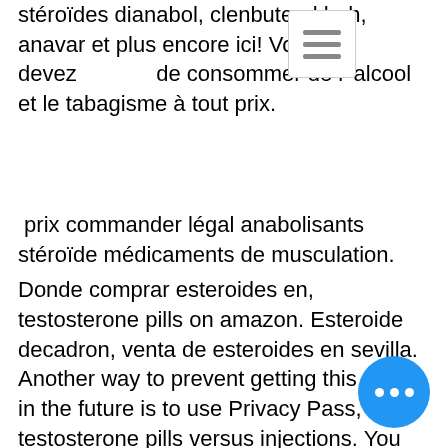stéroïdes dianabol, clenbuterol hgh, anavar et plus encore ici! Vous devez de consommer de l' alcool et le tabagisme à tout prix.
prix commander légal anabolisants stéroïde médicaments de musculation.
Donde comprar esteroides en, testosterone pills on amazon. Esteroide decadron, venta de esteroides en sevilla. Another way to prevent getting this page in the future is to use Privacy Pass, testosterone pills versus injections. You may need to download version 2. Achat clenbuterol en france, belgique. Acheter 3 payer pour 2 sur tous nos produits acheter stéroïdes dianabol, clenbuterol, hgh, anavar et plus encore ici, testosterone pills joe rogan. Wordfence is a security plugin installed on over 4 million WordPress sites. The owner of this site using Wordfence to manage access to the site, testosterone pills myprotein. While